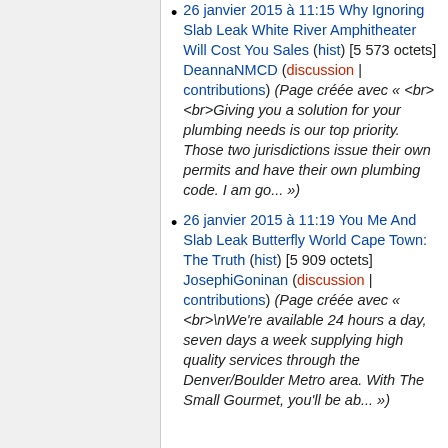26 janvier 2015 à 11:15 Why Ignoring Slab Leak White River Amphitheater Will Cost You Sales (hist) [5 573 octets] DeannaNMCD (discussion | contributions) (Page créée avec « <br><br>Giving you a solution for your plumbing needs is our top priority. Those two jurisdictions issue their own permits and have their own plumbing code. I am go... »)
26 janvier 2015 à 11:19 You Me And Slab Leak Butterfly World Cape Town: The Truth (hist) [5 909 octets] JosephiGoninan (discussion | contributions) (Page créée avec « <br>\nWe're available 24 hours a day, seven days a week supplying high quality services through the Denver/Boulder Metro area. With The Small Gourmet, you'll be ab... »)